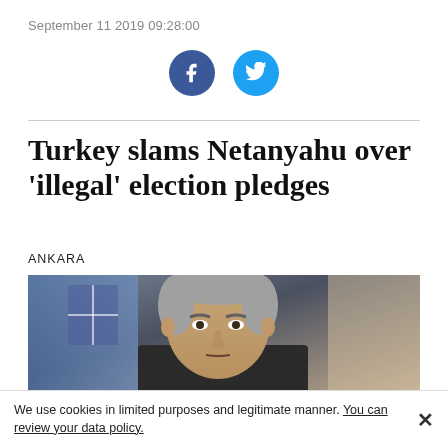September 11 2019 09:28:00
[Figure (illustration): Facebook and Twitter social media share icons as blue circles with white logos]
Turkey slams Netanyahu over 'illegal' election pledges
ANKARA
[Figure (photo): Close-up photograph of a grey-haired man in a suit, looking forward seriously, with a blue flag in the background]
We use cookies in limited purposes and legitimate manner. You can review your data policy.